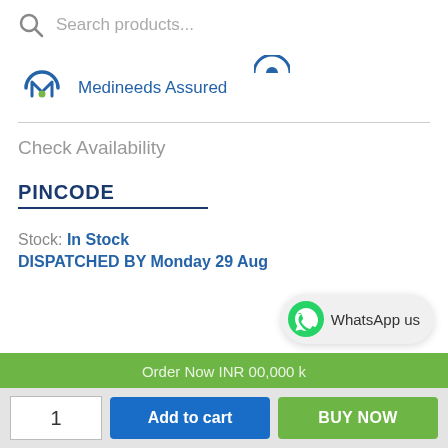[Figure (screenshot): Search bar with magnifying glass icon and placeholder 'Search products...']
[Figure (logo): Medineeds Assured logo with circular M icon in blue and green]
Medineeds Assured
Check Availability
PINCODE
Stock: In Stock
DISPATCHED BY Monday 29 Aug
[Figure (screenshot): WhatsApp us button with green WhatsApp icon]
WhatsApp us
1
Add to cart
BUY NOW